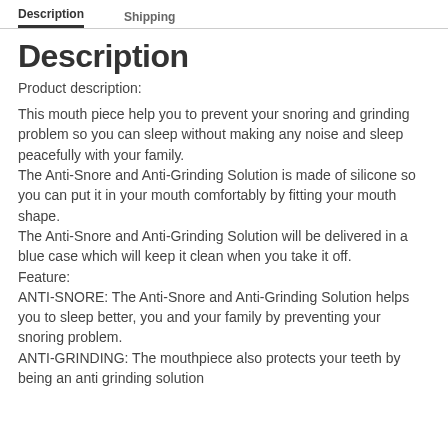Description | Shipping
Description
Product description:
This mouth piece help you to prevent your snoring and grinding problem so you can sleep without making any noise and sleep peacefully with your family.
The Anti-Snore and Anti-Grinding Solution is made of silicone so you can put it in your mouth comfortably by fitting your mouth shape.
The Anti-Snore and Anti-Grinding Solution will be delivered in a blue case which will keep it clean when you take it off.
Feature:
ANTI-SNORE: The Anti-Snore and Anti-Grinding Solution helps you to sleep better, you and your family by preventing your snoring problem.
ANTI-GRINDING: The mouthpiece also protects your teeth by being an anti grinding solution